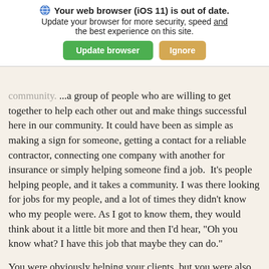[Figure (screenshot): Browser update warning banner with globe icon, bold text 'Your web browser (iOS 11) is out of date. Update your browser for more security, speed and the best experience on this site.' with green 'Update browser' button and gold 'Ignore' button.]
community. ...a group of people who are willing to get together to help each other out and make things successful here in our community. It could have been as simple as making a sign for someone, getting a contact for a reliable contractor, connecting one company with another for insurance or simply helping someone find a job.  It's people helping people, and it takes a community. I was there looking for jobs for my people, and a lot of times they didn't know who my people were. As I got to know them, they would think about it a little bit more and then I'd hear, "Oh you know what? I have this job that maybe they can do."
You were obviously helping your clients, but you were also helping the community by helping fill a job. You helped people look outside the box when they're thinking about companies or jobs they could connect people with. Every role I have been with at Goodwill has really made